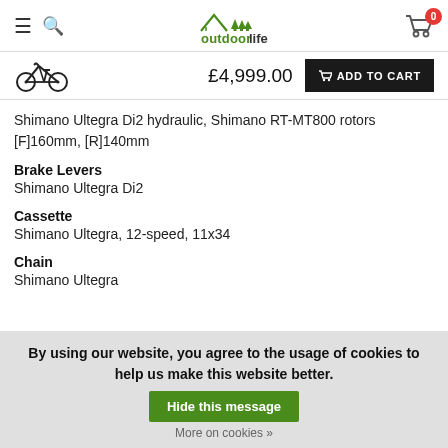outdoorlife — navigation header with hamburger, search, logo, and cart (0 items)
[Figure (illustration): Bicycle icon (mountain bike silhouette) in black]
£4,999.00
ADD TO CART
Shimano Ultegra Di2 hydraulic, Shimano RT-MT800 rotors [F]160mm, [R]140mm
Brake Levers
Shimano Ultegra Di2
Cassette
Shimano Ultegra, 12-speed, 11x34
Chain
Shimano Ultegra
By using our website, you agree to the usage of cookies to help us make this website better.
Hide this message
More on cookies »